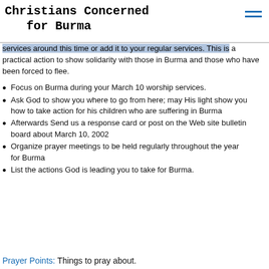Christians Concerned for Burma
services around this time or add it to your regular services. This is a practical action to show solidarity with those in Burma and those who have been forced to flee.
Focus on Burma during your March 10 worship services.
Ask God to show you where to go from here; may His light show you how to take action for his children who are suffering in Burma
Afterwards Send us a response card or post on the Web site bulletin board about March 10, 2002
Organize prayer meetings to be held regularly throughout the year for Burma
List the actions God is leading you to take for Burma.
Prayer Points: Things to pray about.